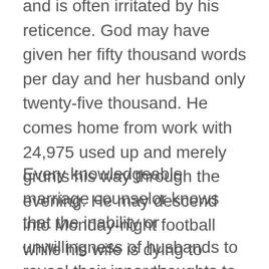and is often irritated by his reticence. God may have given her fifty thousand words per day and her husband only twenty-five thousand. He comes home from work with 24,975 used up and merely grunts his way through the evening. He may descend into Monday-night football while his wife is dying to expend her remaining twenty-five thousand words.
Every knowledgeable marriage counselor knows that the inability or unwillingness of husbands to reveal their inner thoughts to their wives is one of the common complaints of women. A wife wants to know what her husband is thinking and what happened at his office and how he sees the children and, especially, how he